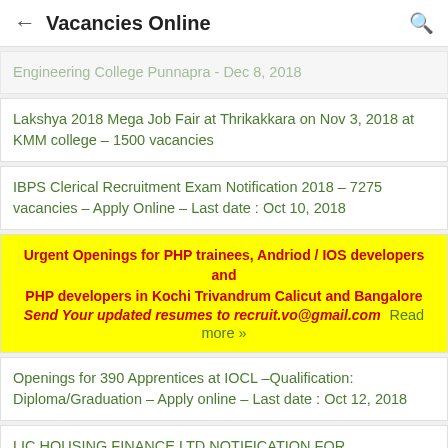← Vacancies Online 🔍
Engineering College Punnapra - Dec 8, 2018
Lakshya 2018 Mega Job Fair at Thrikakkara on Nov 3, 2018 at KMM college – 1500 vacancies
IBPS Clerical Recruitment Exam Notification 2018 – 7275 vacancies – Apply Online – Last date : Oct 10, 2018
Urgent Openings for PHP trainees, Andriod / IOS developers and PHP developers in Kochi Trivandrum Calicut and Bangalore Send Your updated resumes to recruit.vo@gmail.com Read more »
Openings for 390 Apprentices at IOCL –Qualification: Diploma/Graduation – Apply online – Last date : Oct 12, 2018
LIC HOUSING FINANCE LTD NOTIFICATION FOR RECRUITMENT OF ASSISTANTS , ASSOCIATES & ASSISTANT MANAGERS – 300 VACANCIES –APPLY ONLINE